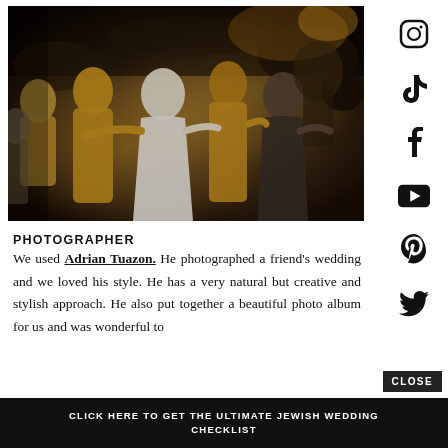[Figure (photo): Wedding reception dance floor photo showing a bride in white dress dancing in a circle with bridesmaids in mustard/gold dresses and other guests, indoor venue with warm ambient lighting]
PHOTOGRAPHER
We used Adrian Tuazon. He photographed a friend's wedding and we loved his style. He has a very natural but creative and stylish approach. He also put together a beautiful photo album for us and was wonderful to
CLOSE
CLICK HERE TO GET THE ULTIMATE JEWISH WEDDING CHECKLIST